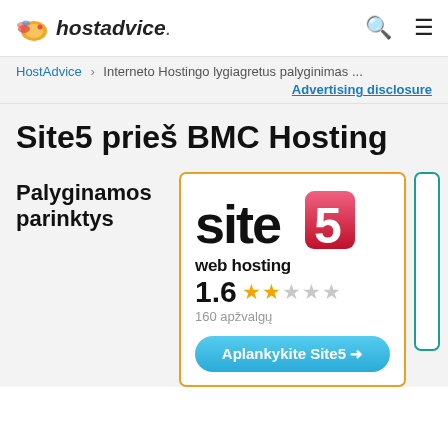hostadvice.
HostAdvice > Interneto Hostingo lygiagretus palyginimas ...
Advertising disclosure
Site5 prieš BMC Hosting
Palyginamos parinktys
[Figure (logo): Site5 web hosting logo with rating 1.6 stars (160 reviews) and Visit Site5 button]